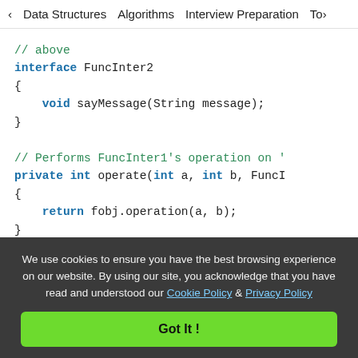< Data Structures   Algorithms   Interview Preparation   To>
// above
interface FuncInter2
{
    void sayMessage(String message);
}

// Performs FuncInter1's operation on '
private int operate(int a, int b, FuncI
{
    return fobj.operation(a, b);
}

public static void main(String args[])
{
    // lambda expression for addition f
We use cookies to ensure you have the best browsing experience on our website. By using our site, you acknowledge that you have read and understood our Cookie Policy & Privacy Policy
Got It !